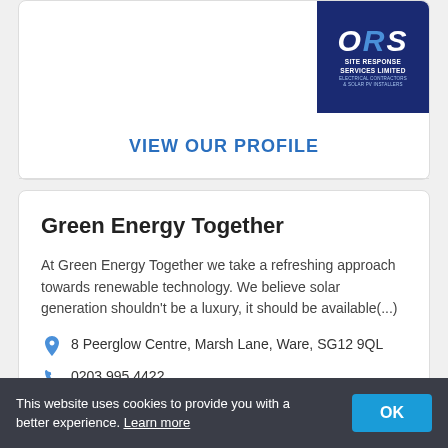[Figure (logo): ORS Site Response Services Limited logo — dark blue background with ORS letters in white/blue italic, subtitle: SITE RESPONSE SERVICES LIMITED, tagline: ELECTRICAL CONTRACTORS & SOLAR PV INSTALLERS]
VIEW OUR PROFILE
Green Energy Together
At Green Energy Together we take a refreshing approach towards renewable technology. We believe solar generation shouldn't be a luxury, it should be available(...)
8 Peerglow Centre, Marsh Lane, Ware, SG12 9QL
0203 995 4422
This website uses cookies to provide you with a better experience. Learn more